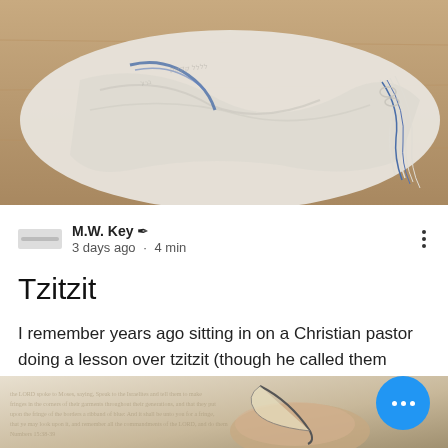[Figure (photo): Photo of a tallit (Jewish prayer shawl) with tzitzit (fringes/tassels) laid on a wooden surface, showing white fabric with blue threads]
M.W. Key ✒ 3 days ago · 4 min
Tzitzit
I remember years ago sitting in on a Christian pastor doing a lesson over tzitzit (though he called them tassels). He mentioned how the...
👁 5   💬 0   4 ♥
[Figure (photo): Partial photo at bottom showing what appears to be a hand holding a feather quill over text/scripture]